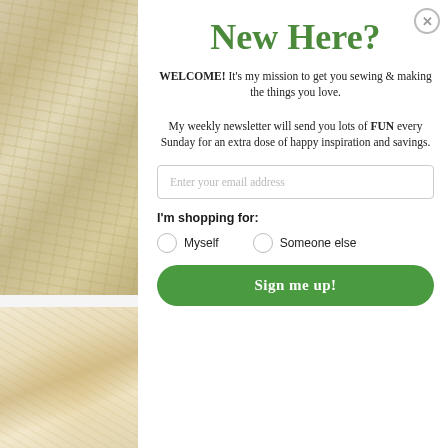[Figure (photo): Close-up of natural linen/cotton fabric with organic texture, beige/tan color]
[Figure (photo): Close-up of cream fabric being held or touched by a hand]
New Here?
WELCOME! It's my mission to get you sewing & making the things you love.

My weekly newsletter will send you lots of FUN every Sunday for an extra dose of happy inspiration and savings.
Enter your email address
I'm shopping for:
Myself
Someone else
Sign me up!